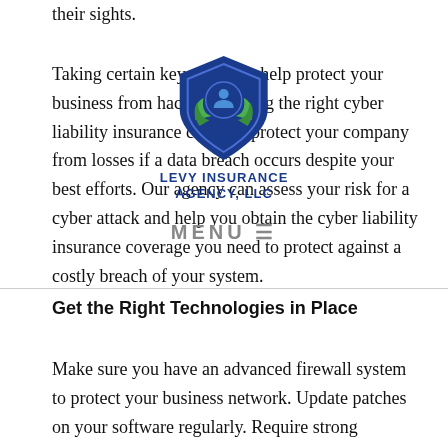their sights.
Taking certain key steps can help protect your business from hackers. Having the right cyber liability insurance can help protect your company from losses if a data breach occurs despite your best efforts. Our agency can assess your risk for a cyber attack and help you obtain the cyber liability insurance coverage you need to protect against a costly breach of your system.
[Figure (logo): Levy Insurance Agency LLC shield logo with blue shield, green checkmark leaves, and agency name text]
Get the Right Technologies in Place
Make sure you have an advanced firewall system to protect your business network. Update patches on your software regularly. Require strong passwords